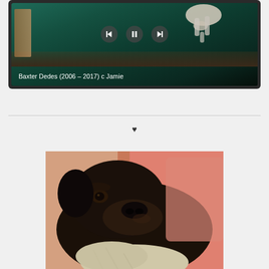[Figure (screenshot): Video player screenshot showing a dog on a teal/green bed with playback controls (back, pause, forward arrows) and caption 'Baxter Dedes (2006 – 2017) c Jamie']
♥
[Figure (photo): Close-up photo of a dark-furred dog looking upward, lying on a pink/salmon colored surface, with light fur on chest area]